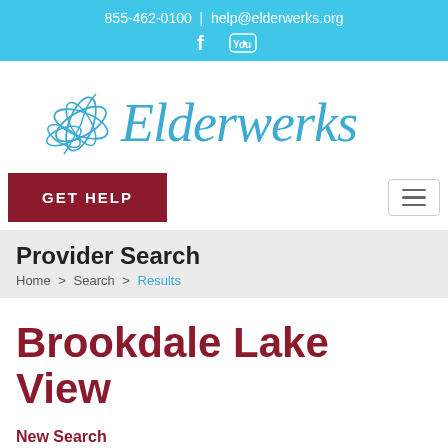855-462-0100 | help@elderwerks.org
[Figure (logo): Elderwerks logo with decorative butterfly/floral graphic and cursive text 'Elderwerks']
GET HELP
Provider Search
Home > Search > Results
Brookdale Lake View
New Search